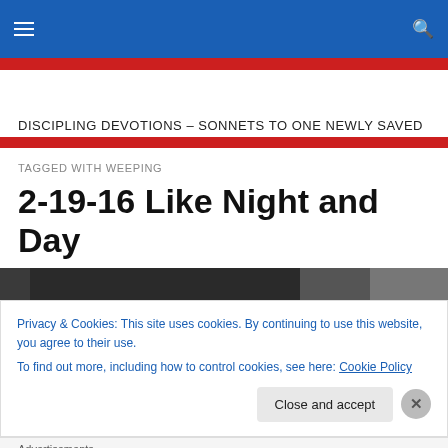DISCIPLING DEVOTIONS – SONNETS TO ONE NEWLY SAVED
TAGGED WITH WEEPING
2-19-16 Like Night and Day
[Figure (photo): Dark grayscale photo strip showing silhouette/portrait]
Privacy & Cookies: This site uses cookies. By continuing to use this website, you agree to their use.
To find out more, including how to control cookies, see here: Cookie Policy
Close and accept
Advertisements